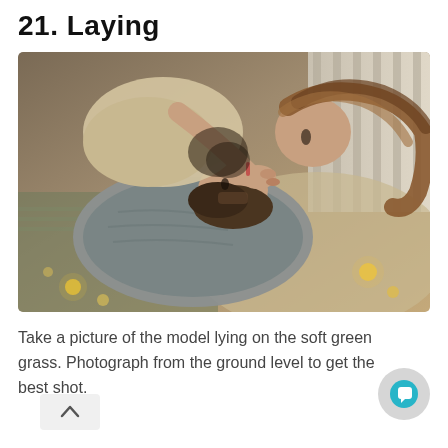21. Laying
[Figure (photo): Couple lying down, photographed from above. A man and woman are lying close together, the woman leaning in to kiss the man. Warm, intimate indoor scene with soft fabrics and bokeh string lights.]
Take a picture of the model lying on the soft green grass. Photograph from the ground level to get the best shot.